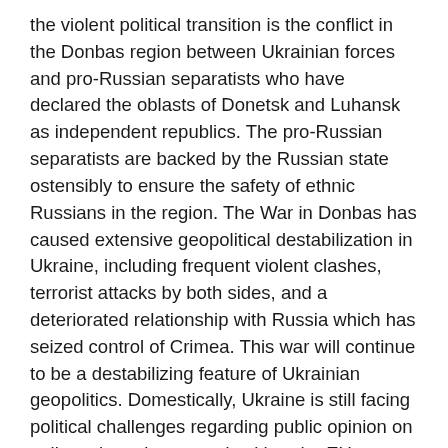the violent political transition is the conflict in the Donbas region between Ukrainian forces and pro-Russian separatists who have declared the oblasts of Donetsk and Luhansk as independent republics. The pro-Russian separatists are backed by the Russian state ostensibly to ensure the safety of ethnic Russians in the region. The War in Donbas has caused extensive geopolitical destabilization in Ukraine, including frequent violent clashes, terrorist attacks by both sides, and a deteriorated relationship with Russia which has seized control of Crimea. This war will continue to be a destabilizing feature of Ukrainian geopolitics. Domestically, Ukraine is still facing political challenges regarding public opinion on policy orientation towards either the EU or Russia, as well as allegations of corruption and poor economic performance which could engender public demonstration and further destabilization for the Ukrainian government.
For most foreign nationals, the threat of kidnapping in Ukraine is moderate. Kidnappings are not a frequent